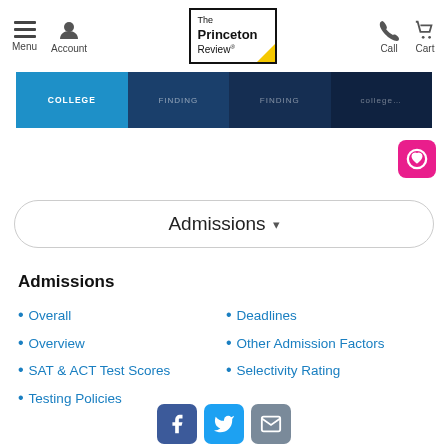Menu | Account | The Princeton Review | Call | Cart
[Figure (screenshot): Navigation banner with COLLEGE, FINDING, FINDING, and other tab labels in blue and dark navy colors]
[Figure (other): Pink heart/save button icon]
Admissions ▾
Admissions
Overall
Overview
SAT & ACT Test Scores
Testing Policies
Deadlines
Other Admission Factors
Selectivity Rating
Facebook | Twitter | Email